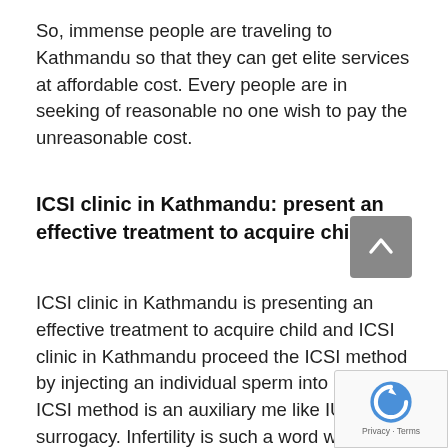So, immense people are traveling to Kathmandu so that they can get elite services at affordable cost. Every people are in seeking of reasonable no one wish to pay the unreasonable cost.
ICSI clinic in Kathmandu: present an effective treatment to acquire child
ICSI clinic in Kathmandu is presenting an effective treatment to acquire child and ICSI clinic in Kathmandu proceed the ICSI method by injecting an individual sperm into an egg. ICSI method is an auxiliary me like IUI and surrogacy. Infertility is such a word w pace people to the world of darkness by not having the